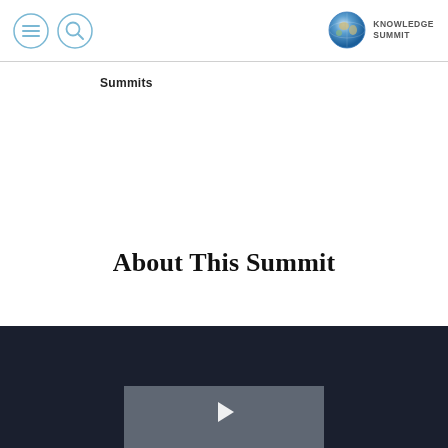[Figure (logo): Knowledge Summit logo with globe icon and text 'KNOWLEDGE SUMMIT']
[Figure (other): Menu hamburger icon inside a circle]
[Figure (other): Search magnifier icon inside a circle]
Summits
About This Summit
[Figure (screenshot): Dark background video/image panel with a light grey rectangle and white play arrow at the bottom of the page]